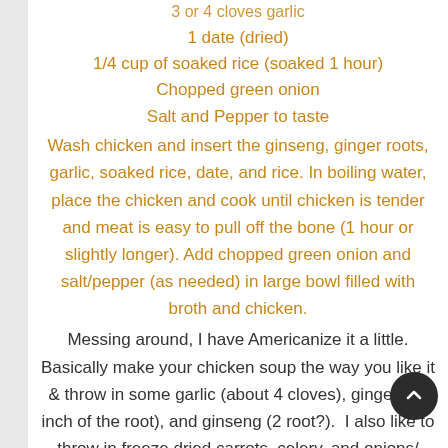3 or 4 cloves garlic (partially visible at top)
1 date (dried)
1/4 cup of soaked rice (soaked 1 hour)
Chopped green onion
Salt and Pepper to taste
Wash chicken and insert the ginseng, ginger roots, garlic, soaked rice, date, and rice. In boiling water, place the chicken and cook until chicken is tender and meat is easy to pull off the bone (1 hour or slightly longer). Add chopped green onion and salt/pepper (as needed) in large bowl filled with broth and chicken.
Messing around, I have Americanize it a little. Basically make your chicken soup the way you like it & throw in some garlic (about 4 cloves), ginger (an inch of the root), and ginseng (2 root?).  I also like to throw in freeze dried carrots, celery, and onions/ green onions.  If you have certain vegetables you come to